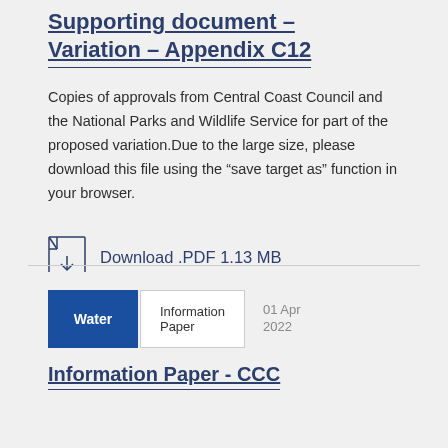Supporting document – Variation – Appendix C12
Copies of approvals from Central Coast Council and the National Parks and Wildlife Service for part of the proposed variation.Due to the large size, please download this file using the "save target as" function in your browser.
Download .PDF 1.13 MB
Water   Information Paper   01 Apr 2022
Information Paper - CCC